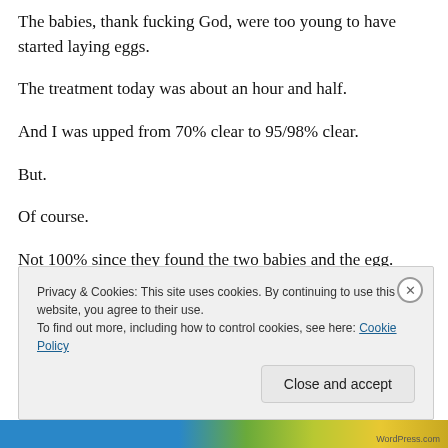The babies, thank fucking God, were too young to have started laying eggs.
The treatment today was about an hour and half.
And I was upped from 70% clear to 95/98% clear.
But.
Of course.
Not 100% since they found the two babies and the egg.
F...
Privacy & Cookies: This site uses cookies. By continuing to use this website, you agree to their use.
To find out more, including how to control cookies, see here: Cookie Policy
Close and accept